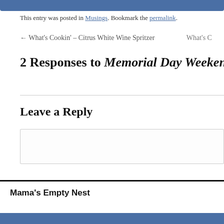This entry was posted in Musings. Bookmark the permalink.
← What's Cookin' – Citrus White Wine Spritzer    What's C…
2 Responses to Memorial Day Weekend Ma…
Leave a Reply
Enter your comment here...
Mama's Empty Nest